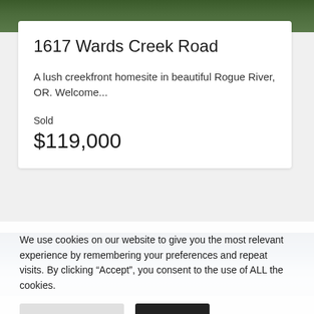[Figure (photo): Top green landscape/nature photo (partial, cropped at top of page)]
1617 Wards Creek Road
A lush creekfront homesite in beautiful Rogue River, OR. Welcome...
Sold
$119,000
[Figure (photo): Sky with clouds photo (partial, cropped)]
We use cookies on our website to give you the most relevant experience by remembering your preferences and repeat visits. By clicking “Accept”, you consent to the use of ALL the cookies.
Cookie Settings
Accept